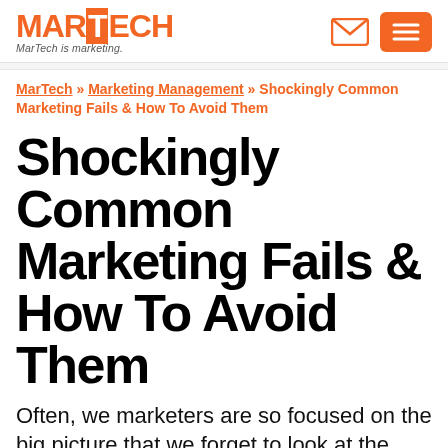MARTECH — MarTech is marketing.
MarTech » Marketing Management » Shockingly Common Marketing Fails & How To Avoid Them
Shockingly Common Marketing Fails & How To Avoid Them
Often, we marketers are so focused on the big picture that we forget to look at the details. Columnist Julie Joyce shares